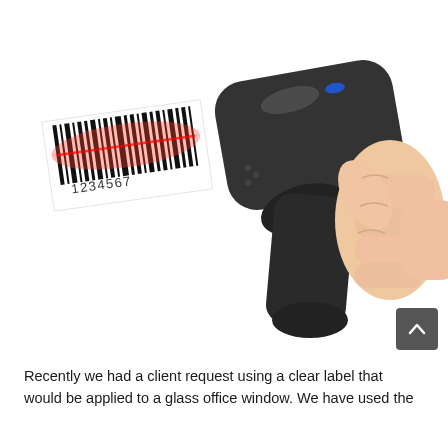[Figure (photo): A hand holding a black barcode scanner gun, scanning a barcode label that shows vertical black bars and the number '1234567' underneath, with a red laser beam visible hitting the barcode. The scanner is a pistol-grip style device with a blue LED indicator on top. Background is white.]
Recently we had a client request using a clear label that would be applied to a glass office window. We have used the